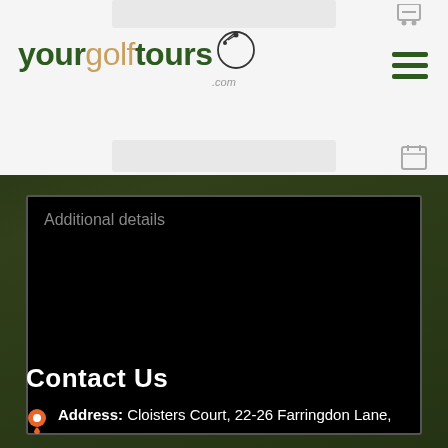[Figure (logo): yourgolftours.com logo with golf ball and pin icon]
Additional details
Submit Form
Contact Us
Address: Cloisters Court, 22-26 Farringdon Lane,